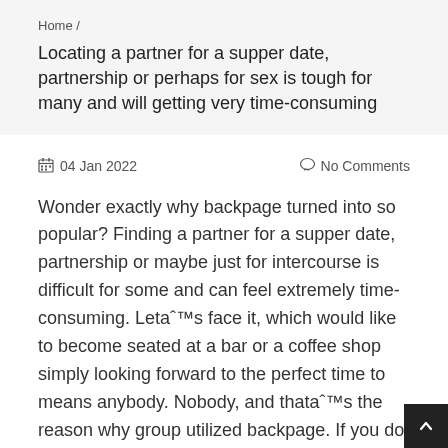Home /
Locating a partner for a supper date, partnership or perhaps for sex is tough for many and will getting very time-consuming
04 Jan 2022
No Comments
Wonder exactly why backpage turned into so popular? Finding a partner for a supper date, partnership or maybe just for intercourse is difficult for some and can feel extremely time-consuming. Letaˆ™s face it, which would like to become seated at a bar or a coffee shop simply looking forward to the perfect time to means anybody. Nobody, and thataˆ™s the reason why group utilized backpage. If you do not know ver...